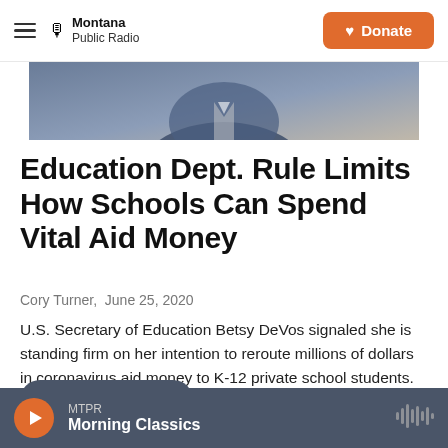Montana Public Radio | Donate
[Figure (photo): Partial view of a person in a blue suit/jacket, photo cropped showing torso/shoulder area]
Education Dept. Rule Limits How Schools Can Spend Vital Aid Money
Cory Turner,  June 25, 2020
U.S. Secretary of Education Betsy DeVos signaled she is standing firm on her intention to reroute millions of dollars in coronavirus aid money to K-12 private school students.
LISTEN • 3:04
MTPR Morning Classics